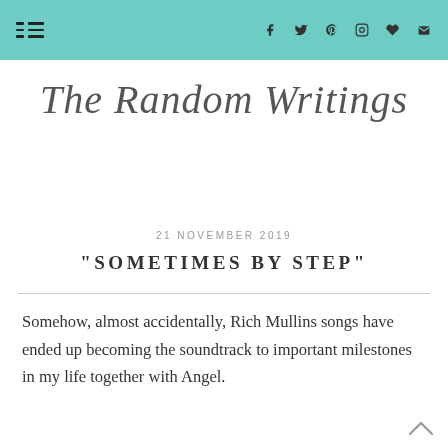The Random Writings — navigation and social icons header
[Figure (logo): The Random Writings script/cursive blog logo title]
21 NOVEMBER 2019
"SOMETIMES BY STEP"
Somehow, almost accidentally, Rich Mullins songs have ended up becoming the soundtrack to important milestones in my life together with Angel.